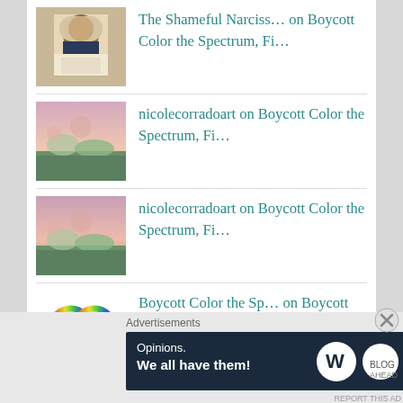The Shameful Narciss… on Boycott Color the Spectrum, Fi…
nicolecorradoart on Boycott Color the Spectrum, Fi…
nicolecorradoart on Boycott Color the Spectrum, Fi…
Boycott Color the Sp… on Boycott Color the Spectrum, Fi…
Archives
Advertisements
[Figure (screenshot): WordPress advertisement banner: 'Opinions. We all have them!' with WordPress logo and another circular logo on dark navy background]